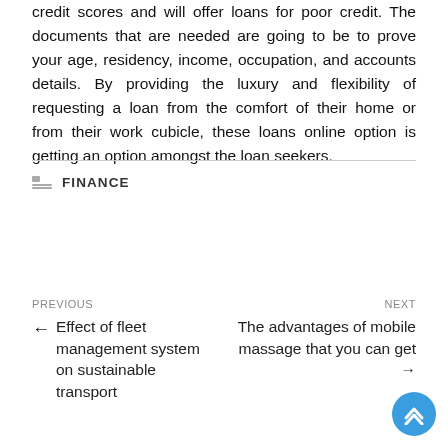credit scores and will offer loans for poor credit. The documents that are needed are going to be to prove your age, residency, income, occupation, and accounts details. By providing the luxury and flexibility of requesting a loan from the comfort of their home or from their work cubicle, these loans online option is getting an option amongst the loan seekers.
FINANCE
PREVIOUS
← Effect of fleet management system on sustainable transport
NEXT
The advantages of mobile massage that you can get →